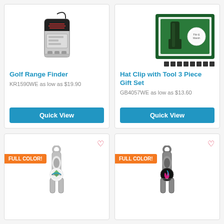[Figure (photo): Golf Range Finder product photo - handheld electronic rangefinder with lanyard]
Golf Range Finder
KR1590WE as low as $19.90
Quick View
[Figure (photo): Hat Clip with Tool 3 Piece Gift Set - green velvet box with divot tool and ball marker]
Hat Clip with Tool 3 Piece Gift Set
GB4057WE as low as $13.60
Quick View
[Figure (photo): Divot tool / bottle opener with Fitz & Marsh Enterprises logo in full color - silver finish]
[Figure (photo): Divot tool / bottle opener with Fitz & Marsh Enterprises logo in full color - dark/gunmetal finish]